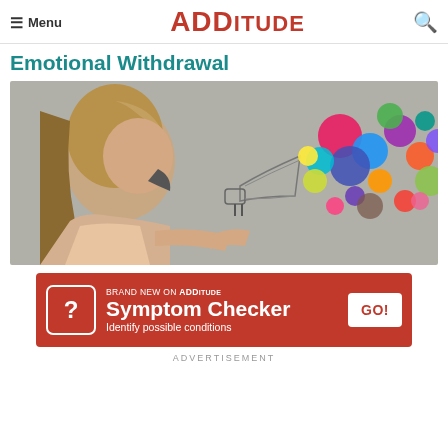≡ Menu  ADDitude  🔍
Emotional Withdrawal
[Figure (photo): Woman shouting into a megaphone with colorful bubbles coming out of it, against a grey background.]
[Figure (infographic): Advertisement banner for ADDitude Symptom Checker with red background, question mark icon, and GO! button. Text: Brand New on ADDitude Symptom Checker Identify possible conditions.]
ADVERTISEMENT